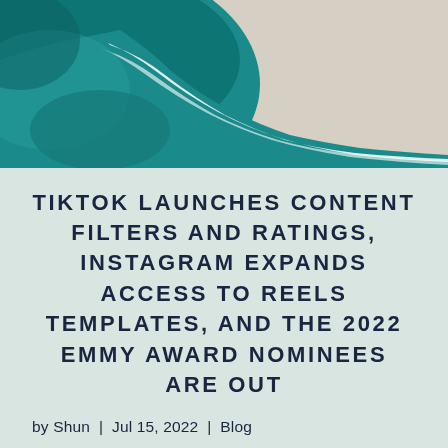[Figure (photo): Aerial view of ocean waves meeting a sandy beach, with teal/turquoise water and white foam at the shoreline.]
TIKTOK LAUNCHES CONTENT FILTERS AND RATINGS, INSTAGRAM EXPANDS ACCESS TO REELS TEMPLATES, AND THE 2022 EMMY AWARD NOMINEES ARE OUT
by Shun | Jul 15, 2022 | Blog